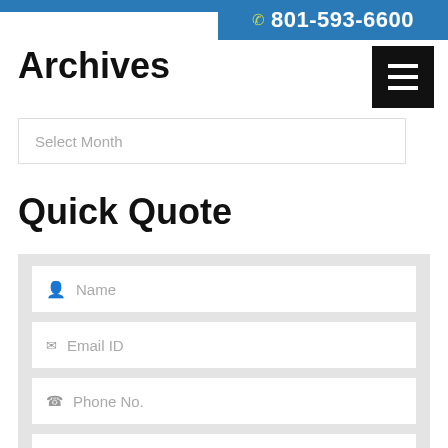801-593-6600
Archives
Select Month
Quick Quote
Name
Email ID
Phone No.
Fence Type